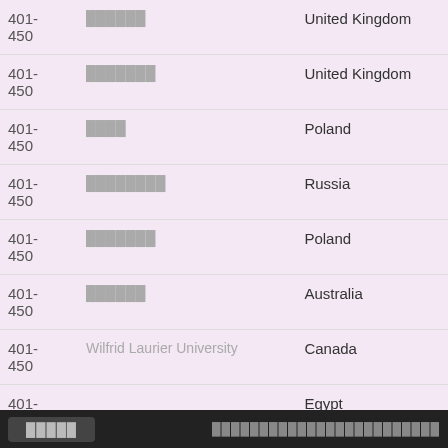| Rank | Name | Country |
| --- | --- | --- |
| 401-450 | ██████ | United Kingdom |
| 401-450 | ███████ | United Kingdom |
| 401-450 | ████ | Poland |
| 401-450 | ████████ | Russia |
| 401-450 | ███████ | Poland |
| 401-450 | ██████ | Australia |
| 401-450 | Wilfrid Laurier University | Canada |
| 401-450 | █████████ | Egypt |
█████  ████████████████████████